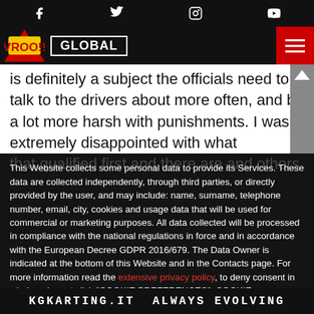Social media icons: Facebook, Twitter, Instagram, YouTube
VROO!! GLOBAL — navigation header with hamburger menu
is definitely a subject the officials need to talk to the drivers about more often, and be a lot more harsh with punishments. I was extremely disappointed with what
This Website collects some personal data to provide its Services. These data are collected independently, through third parties, or directly provided by the user, and may include: name, surname, telephone number, email, city, cookies and usage data that will be used for commercial or marketing purposes. All data collected will be processed in compliance with the national regulations in force and in accordance with the European Decree GDPR 2016/679. The Data Owner is indicated at the bottom of this Website and in the Contacts page. For more information read the extensive privacy policy, to deny consent in whole or in part click "COOKIE PREFERENCES". COOKIE PREFERENCES
AGREE
No, thanks
that didn't qualify well around you that also want to make race... some that were just not that fast
[Figure (other): KGKARTING.IT ALWAYS EVOLVING advertisement banner]